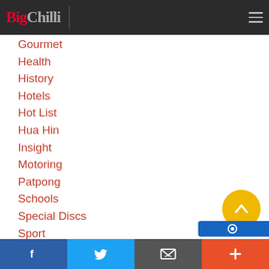BigChilli
Gourmet
Health
History
Hotels
Hot List
Hua Hin
Insight
Motoring
Patpong
Schools
Special Discs
Sport
Steak
Technology
Travel
[Figure (other): Yellow circular scroll-to-top button with upward chevron arrow]
[Figure (other): Blue partial button at bottom right]
Facebook | Twitter | Email | Plus social share bar